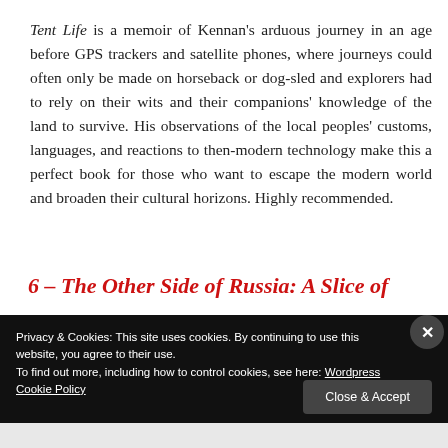Tent Life is a memoir of Kennan's arduous journey in an age before GPS trackers and satellite phones, where journeys could often only be made on horseback or dog-sled and explorers had to rely on their wits and their companions' knowledge of the land to survive. His observations of the local peoples' customs, languages, and reactions to then-modern technology make this a perfect book for those who want to escape the modern world and broaden their cultural horizons. Highly recommended.
6 – The Other Side of Russia: A Slice of
Privacy & Cookies: This site uses cookies. By continuing to use this website, you agree to their use.
To find out more, including how to control cookies, see here: Wordpress Cookie Policy